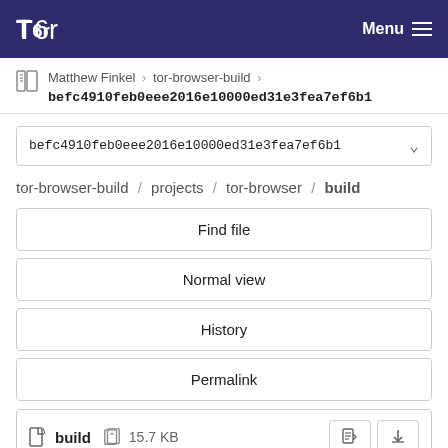Tor — Menu
Matthew Finkel › tor-browser-build › befc4910feb0eee2016e10000ed31e3fea7ef6b1
befc4910feb0eee2016e10000ed31e3fea7ef6b1
tor-browser-build / projects / tor-browser / build
Find file
Normal view
History
Permalink
build  15.7 KB
Newer  Older